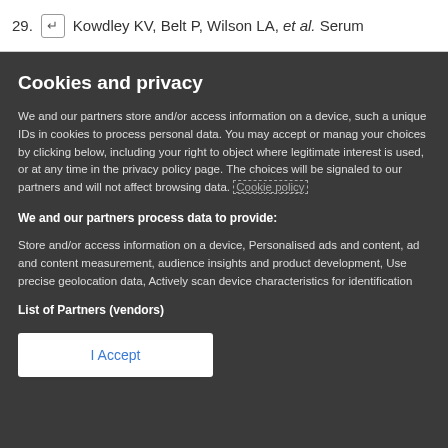29. ↵ Kowdley KV, Belt P, Wilson LA, et al. Serum
Cookies and privacy
We and our partners store and/or access information on a device, such a unique IDs in cookies to process personal data. You may accept or manag your choices by clicking below, including your right to object where legitimate interest is used, or at any time in the privacy policy page. The choices will be signaled to our partners and will not affect browsing data. Cookie policy
We and our partners process data to provide:
Store and/or access information on a device, Personalised ads and content, ad and content measurement, audience insights and product development, Use precise geolocation data, Actively scan device characteristics for identification
List of Partners (vendors)
I Accept